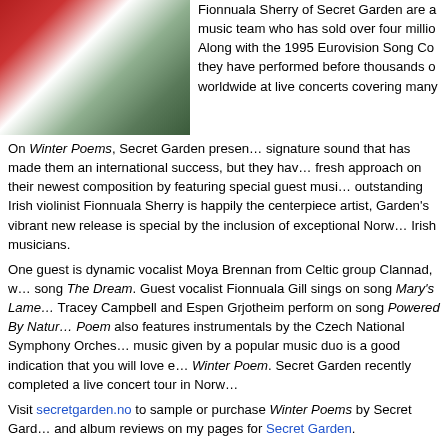[Figure (photo): Photo of Secret Garden album art or artists - white feathery/floral image with red and green tones]
Fionnuala Sherry of Secret Garden are a music team who has sold over four million. Along with the 1995 Eurovision Song Co... they have performed before thousands of worldwide at live concerts covering many
On Winter Poems, Secret Garden presen... signature sound that has made them an international success, but they hav... fresh approach on their newest composition by featuring special guest musi... outstanding Irish violinist Fionnuala Sherry is happily the centerpiece artist, Garden's vibrant new release is special by the inclusion of exceptional Norw... Irish musicians.
One guest is dynamic vocalist Moya Brennan from Celtic group Clannad, w... song The Dream. Guest vocalist Fionnuala Gill sings on song Mary's Lame... Tracey Campbell and Espen Grjotheim perform on song Powered By Natur... Poem also features instrumentals by the Czech National Symphony Orches... music given by a popular music duo is a good indication that you will love e... Winter Poem. Secret Garden recently completed a live concert tour in Norw...
Visit secretgarden.no to sample or purchase Winter Poems by Secret Gard... and album reviews on my pages for Secret Garden.
[Figure (photo): Portrait photo of Yanni - man with long dark hair against light background]
12. Truth Of Touch by Yanni
Truth Of Touch is a passionate reflection... personal interaction with an audience thr... his exceptional live concert performances... shared with his fans by virtue of his magn... symphony of refined music harmony is a...